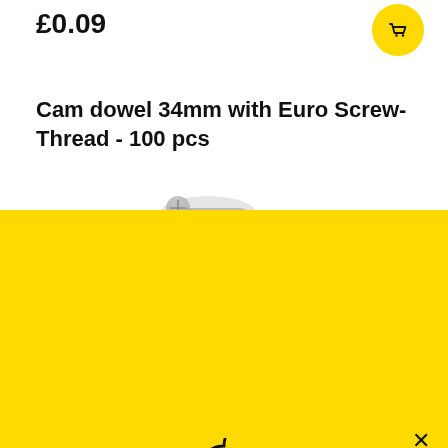£0.09
[Figure (illustration): Yellow circular shopping cart / add-to-basket button icon]
Cam dowel 34mm with Euro Screw-Thread - 100 pcs
[Figure (photo): Metallic cam dowel screws partially visible at the top of cookie banner]
[Figure (illustration): Cookie icon — a circle with a bite taken out and dots on it, black outline]
This website uses cookies to ensure you get the best experience.  Learn more
Preferences
Accept
Decline